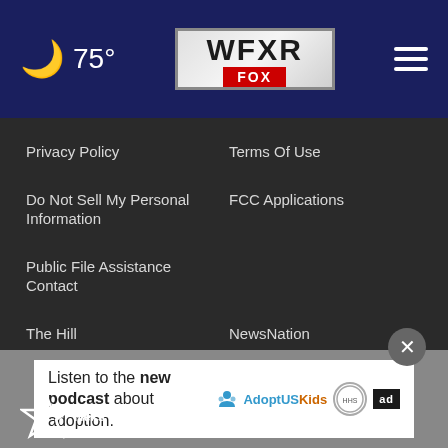75° WFXR FOX
Privacy Policy
Terms Of Use
Do Not Sell My Personal Information
FCC Applications
Public File Assistance Contact
The Hill
NewsNation
BestReviews
Content Licensing
Nexstar Digital
[Figure (logo): Nexstar logo at bottom left]
Listen to the new podcast about adoption.